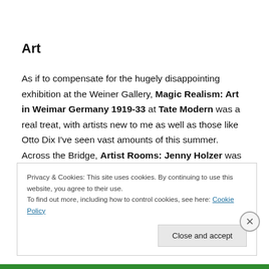Art
As if to compensate for the hugely disappointing exhibition at the Weiner Gallery, Magic Realism: Art in Weimar Germany 1919-33 at Tate Modern was a real treat, with artists new to me as well as those like Otto Dix I've seen vast amounts of this summer. Across the Bridge, Artist Rooms: Jenny Holzer was worth popping into, though much of it goes over my head.
Privacy & Cookies: This site uses cookies. By continuing to use this website, you agree to their use.
To find out more, including how to control cookies, see here: Cookie Policy
Close and accept